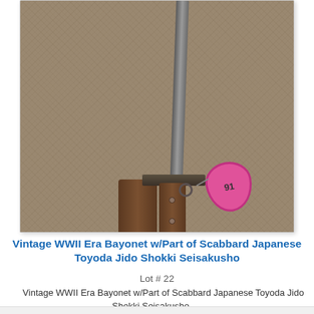[Figure (photo): A WWII era Japanese bayonet with part of its scabbard, laid on a brown/khaki carpet. The bayonet has a long metal blade, a wooden handle with rivets, and a metal guard. The partial scabbard is beside the handle. A pink price tag labeled '91' is attached to the guard.]
Vintage WWII Era Bayonet w/Part of Scabbard Japanese Toyoda Jido Shokki Seisakusho
Lot # 22
Vintage WWII Era Bayonet w/Part of Scabbard Japanese Toyoda Jido Shokki Seisakusho